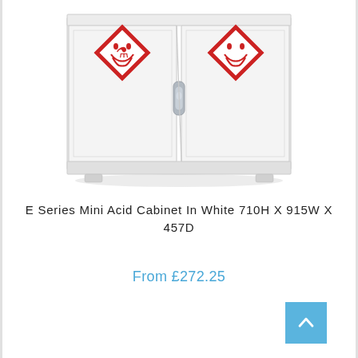[Figure (photo): White metal acid cabinet (E Series Mini) with two doors, each featuring a red diamond GHS corrosive hazard symbol, and a central silver handle.]
E Series Mini Acid Cabinet In White 710H X 915W X 457D
From £272.25